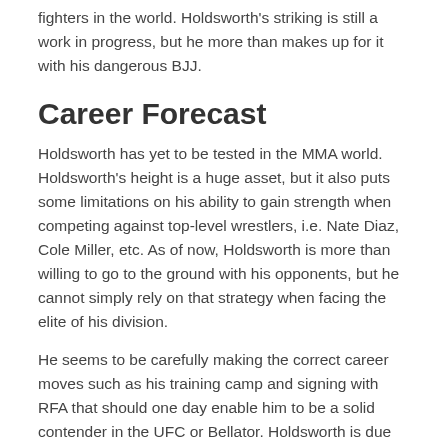fighters in the world. Holdsworth's striking is still a work in progress, but he more than makes up for it with his dangerous BJJ.
Career Forecast
Holdsworth has yet to be tested in the MMA world. Holdsworth's height is a huge asset, but it also puts some limitations on his ability to gain strength when competing against top-level wrestlers, i.e. Nate Diaz, Cole Miller, etc. As of now, Holdsworth is more than willing to go to the ground with his opponents, but he cannot simply rely on that strategy when facing the elite of his division.
He seems to be carefully making the correct career moves such as his training camp and signing with RFA that should one day enable him to be a solid contender in the UFC or Bellator. Holdsworth is due for a significant step up in competition, and if he is able to win a few fights over battle-tested foes I could see him quickly signing with the UFC and possibly holding his own against some of their fighters ranked between 11-20 (Mizugaki, Bedford, Perez, etc.)
Statistics
| Fight Record |
| --- |
Wins (Method)